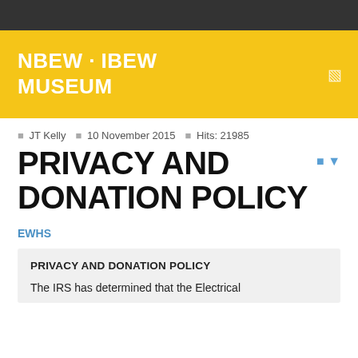NBEW · IBEW MUSEUM
JT Kelly  10 November 2015  Hits: 21985
PRIVACY AND DONATION POLICY
EWHS
PRIVACY AND DONATION POLICY
The IRS has determined that the Electrical